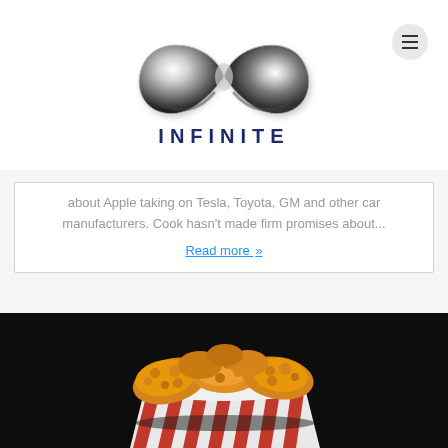[Figure (logo): Infinite logo with chrome infinity symbol and text INFINITE below]
about Apple taking on Tesla, Toyota, GM and other car manufacturers. Cook hasn't made firm promises about...
Read more »
[Figure (photo): KFC fried chicken bucket on dark background]